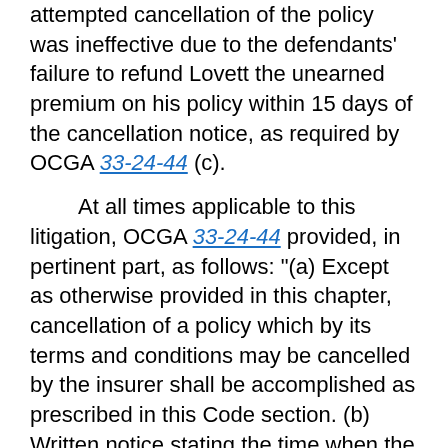attempted cancellation of the policy was ineffective due to the defendants' failure to refund Lovett the unearned premium on his policy within 15 days of the cancellation notice, as required by OCGA 33-24-44 (c).
At all times applicable to this litigation, OCGA 33-24-44 provided, in pertinent part, as follows: "(a) Except as otherwise provided in this chapter, cancellation of a policy which by its terms and conditions may be cancelled by the insurer shall be accomplished as prescribed in this Code section. (b) Written notice stating the time when the cancellation will be effective, which shall be given not less than 30 days